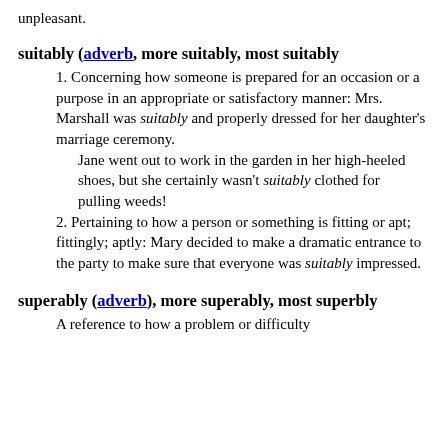unpleasant.
suitably (adverb, more suitably, most suitably
1. Concerning how someone is prepared for an occasion or a purpose in an appropriate or satisfactory manner: Mrs. Marshall was suitably and properly dressed for her daughter's marriage ceremony.
Jane went out to work in the garden in her high-heeled shoes, but she certainly wasn't suitably clothed for pulling weeds!
2. Pertaining to how a person or something is fitting or apt; fittingly; aptly: Mary decided to make a dramatic entrance to the party to make sure that everyone was suitably impressed.
superably (adverb), more superably, most superbly
A reference to how a problem or difficulty